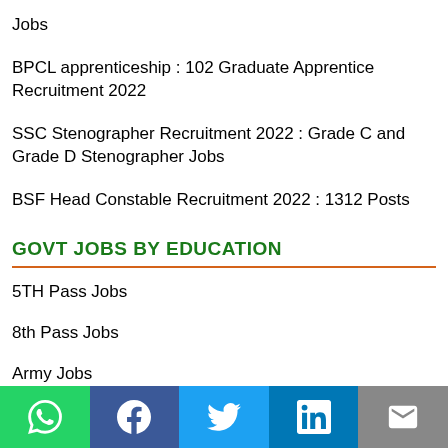Jobs
BPCL apprenticeship : 102 Graduate Apprentice Recruitment 2022
SSC Stenographer Recruitment 2022 : Grade C and Grade D Stenographer Jobs
BSF Head Constable Recruitment 2022 : 1312 Posts
GOVT JOBS BY EDUCATION
5TH Pass Jobs
8th Pass Jobs
Army Jobs
Career Advice
Career Guidance
Computer Tutorial